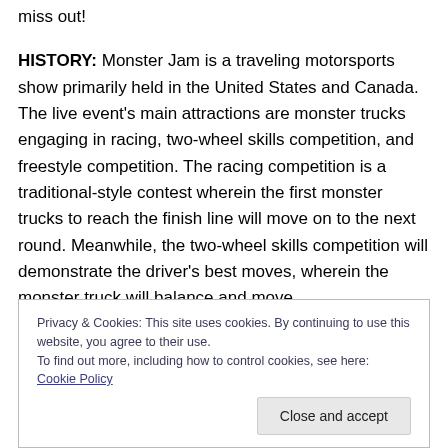miss out!
HISTORY: Monster Jam is a traveling motorsports show primarily held in the United States and Canada. The live event's main attractions are monster trucks engaging in racing, two-wheel skills competition, and freestyle competition. The racing competition is a traditional-style contest wherein the first monster trucks to reach the finish line will move on to the next round. Meanwhile, the two-wheel skills competition will demonstrate the driver's best moves, wherein the monster truck will balance and move
Privacy & Cookies: This site uses cookies. By continuing to use this website, you agree to their use.
To find out more, including how to control cookies, see here: Cookie Policy